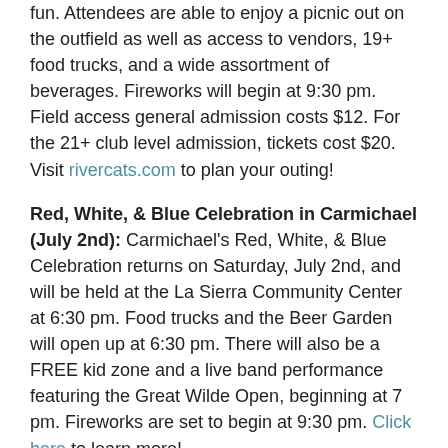fun. Attendees are able to enjoy a picnic out on the outfield as well as access to vendors, 19+ food trucks, and a wide assortment of beverages. Fireworks will begin at 9:30 pm. Field access general admission costs $12. For the 21+ club level admission, tickets cost $20. Visit rivercats.com to plan your outing!
Red, White, & Blue Celebration in Carmichael (July 2nd): Carmichael's Red, White, & Blue Celebration returns on Saturday, July 2nd, and will be held at the La Sierra Community Center at 6:30 pm. Food trucks and the Beer Garden will open up at 6:30 pm. There will also be a FREE kid zone and a live band performance featuring the Great Wilde Open, beginning at 7 pm. Fireworks are set to begin at 9:30 pm. Click here to learn more!
Arden Park July 4th Bike Parade and Festival (July